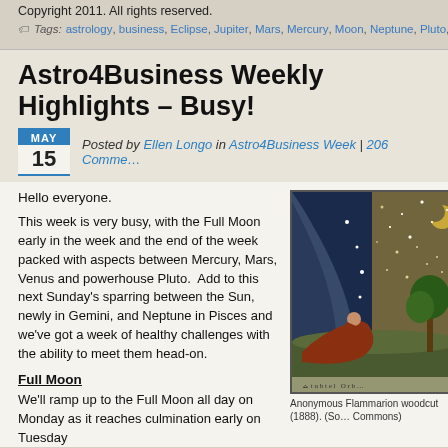Straight to the Point Response Service.
Copyright 2011. All rights reserved.
Tags: astrology, business, Eclipse, Jupiter, Mars, Mercury, Moon, Neptune, Pluto, Saturn, Sun
Astro4Business Weekly Highlights – Busy!
Posted by Ellen Longo in Astro4Business Week | 206 Comments
Hello everyone.
This week is very busy, with the Full Moon early in the week and the end of the week packed with aspects between Mercury, Mars, Venus and powerhouse Pluto. Add to this next Sunday's sparring between the Sun, newly in Gemini, and Neptune in Pisces and we've got a week of healthy challenges with the ability to meet them head-on.
Full Moon
We'll ramp up to the Full Moon all day on Monday as it reaches culmination early on Tuesday
[Figure (illustration): Anonymous Flammarion woodcut (1888) showing a figure peering through the celestial sphere, with stars and cosmic scenery]
Anonymous Flammarion woodcut (1888). (Source: Wikimedia Commons)